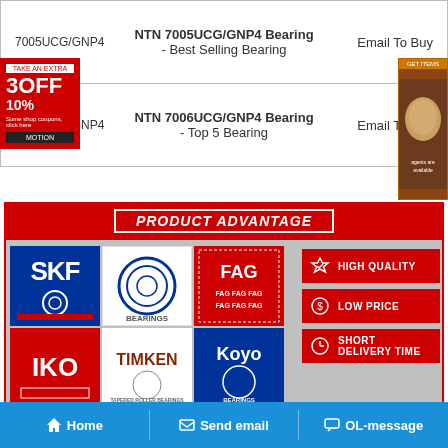| Part Number | Description | Action |
| --- | --- | --- |
| 7005UCG/GNP4 | NTN 7005UCG/GNP4 Bearing - Best Selling Bearing | Email To Buy |
| 7006UCG/GNP4 | NTN 7006UCG/GNP4 Bearing - Top 5 Bearing | Email To Buy |
[Figure (infographic): Product Advantage banner with bearing brand logos (SKF, NTN, FAG, IKO, TIMKEN, KOYO, NTN, NACHI, INA) and three red badges: HIGH QUALITY, LOW PRICE, SHORT DELIVERY TIME]
Home   Send email   OL-message